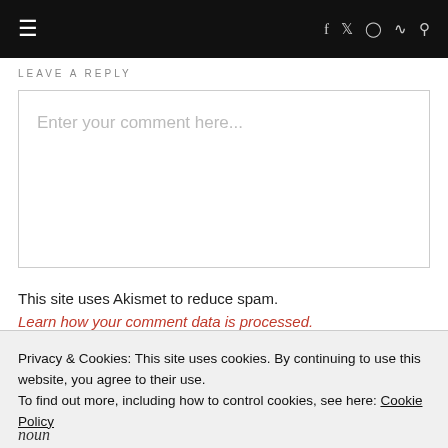≡  f  𝕏  ⬤  ☰  🔍
LEAVE A REPLY
Enter your comment here...
This site uses Akismet to reduce spam. Learn how your comment data is processed.
Privacy & Cookies: This site uses cookies. By continuing to use this website, you agree to their use. To find out more, including how to control cookies, see here: Cookie Policy
Close and accept
noun